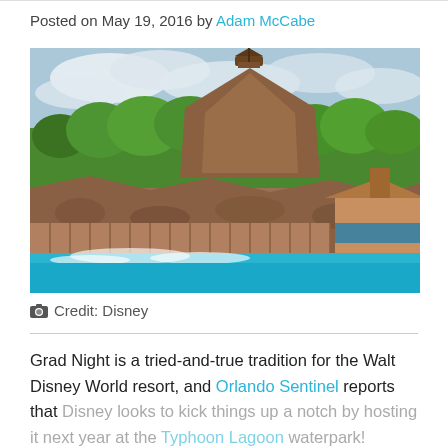Posted on May 19, 2016 by Adam McCabe
[Figure (photo): Aerial/ground-level view of Disney's Typhoon Lagoon water park showing rocky mountain structure with a ship on top, lush tropical trees, water slides, and a bright blue pool in the foreground.]
Credit: Disney
Grad Night is a tried-and-true tradition for the Walt Disney World resort, and Orlando Sentinel reports that Disney looks to kick things up a notch by hosting it next year at the Typhoon Lagoon waterpark!